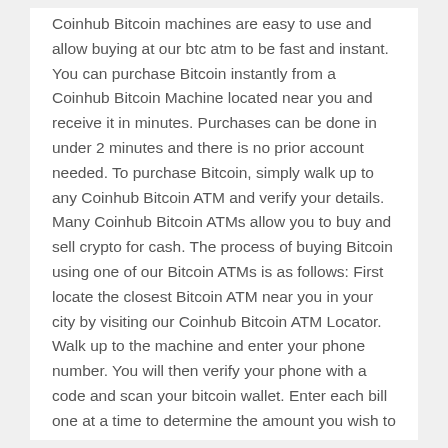Coinhub Bitcoin machines are easy to use and allow buying at our btc atm to be fast and instant. You can purchase Bitcoin instantly from a Coinhub Bitcoin Machine located near you and receive it in minutes. Purchases can be done in under 2 minutes and there is no prior account needed. To purchase Bitcoin, simply walk up to any Coinhub Bitcoin ATM and verify your details. Many Coinhub Bitcoin ATMs allow you to buy and sell crypto for cash. The process of buying Bitcoin using one of our Bitcoin ATMs is as follows: First locate the closest Bitcoin ATM near you in your city by visiting our Coinhub Bitcoin ATM Locator. Walk up to the machine and enter your phone number. You will then verify your phone with a code and scan your bitcoin wallet. Enter each bill one at a time to determine the amount you wish to purchase. After that, confirm the purchase by entering the bitcoin atm. The bitcoin is instantly sent to your wallet. The daily buying limit is